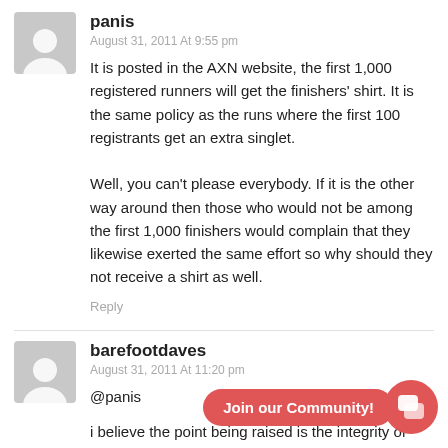panis
August 31, 2011 At 9:55 pm
It is posted in the AXN website, the first 1,000 registered runners will get the finishers' shirt. It is the same policy as the runs where the first 100 registrants get an extra singlet.

Well, you can't please everybody. If it is the other way around then those who would not be among the first 1,000 finishers would complain that they likewise exerted the same effort so why should they not receive a shirt as well.
Reply
barefootdaves
August 31, 2011 At 11:20 pm
@panis
i believe the point being raised is the integrity of